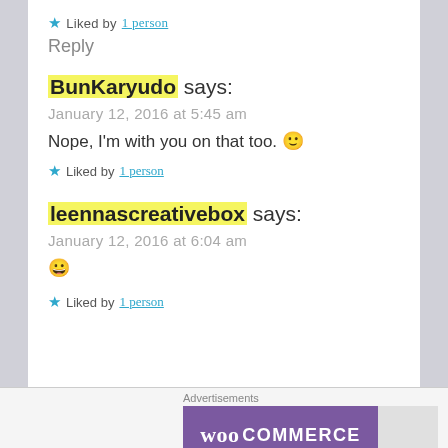★ Liked by 1 person
Reply
BunKaryudo says:
January 12, 2016 at 5:45 am
Nope, I'm with you on that too. 🙂
★ Liked by 1 person
leennascreativebox says:
January 12, 2016 at 6:04 am
😀
★ Liked by 1 person
Advertisements
[Figure (logo): WooCommerce purple banner logo]